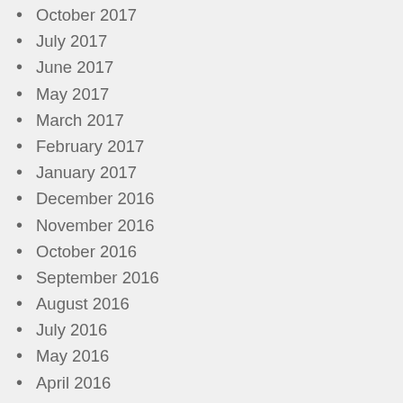October 2017
July 2017
June 2017
May 2017
March 2017
February 2017
January 2017
December 2016
November 2016
October 2016
September 2016
August 2016
July 2016
May 2016
April 2016
March 2016
February 2016
January 2016
December 2015
November 2015
October 2015
September 2015
August 2015